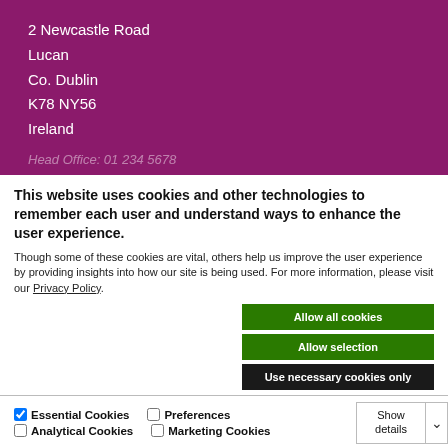2 Newcastle Road
Lucan
Co. Dublin
K78 NY56
Ireland
This website uses cookies and other technologies to remember each user and understand ways to enhance the user experience.
Though some of these cookies are vital, others help us improve the user experience by providing insights into how our site is being used. For more information, please visit our Privacy Policy.
Allow all cookies
Allow selection
Use necessary cookies only
Essential Cookies  Preferences  Analytical Cookies  Marketing Cookies  Show details